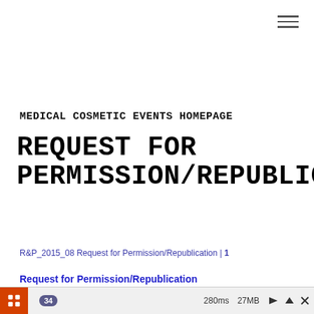≡
MEDICAL COSMETIC EVENTS HOMEPAGE
REQUEST FOR PERMISSION/REPUBLICATION
R&P_2015_08 Request for Permission/Republication | 1
Request for Permission/Republication
34  280ms  27MB